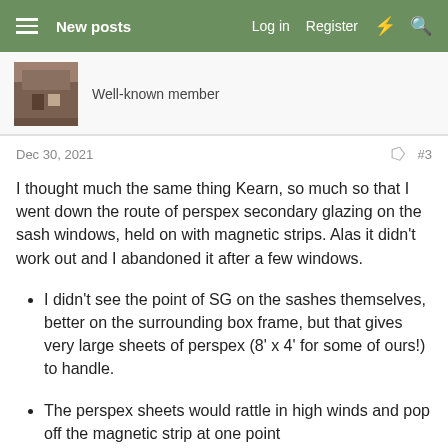☰  New posts    Log in   Register   ⚡   🔍
[Figure (photo): User avatar thumbnail showing a house/building exterior]
Well-known member
Dec 30, 2021
#3
I thought much the same thing Kearn, so much so that I went down the route of perspex secondary glazing on the sash windows, held on with magnetic strips. Alas it didn't work out and I abandoned it after a few windows.
I didn't see the point of SG on the sashes themselves, better on the surrounding box frame, but that gives very large sheets of perspex (8' x 4' for some of ours!) to handle.
The perspex sheets would rattle in high winds and pop off the magnetic strip at one point
The sheets were a right pain to handle & store when you wanted to open the windows - big, flexible &